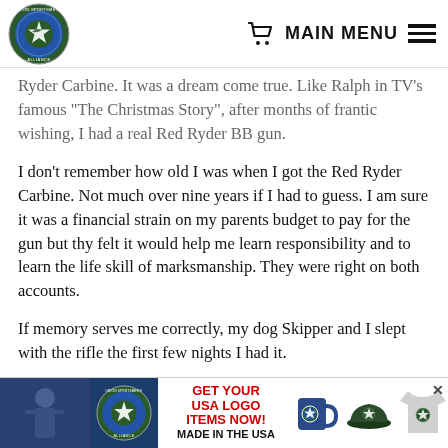MAIN MENU
Ryder Carbine. It was a dream come true. Like Ralph in TV's famous “The Christmas Story”, after months of frantic wishing, I had a real Red Ryder BB gun.
I don’t remember how old I was when I got the Red Ryder Carbine. Not much over nine years if I had to guess. I am sure it was a financial strain on my parents budget to pay for the gun but thy felt it would help me learn responsibility and to learn the life skill of marksmanship. They were right on both accounts.
If memory serves me correctly, my dog Skipper and I slept with the rifle the first few nights I had it.
[Figure (infographic): Advertisement banner for Union Sportsmen’s Alliance GET YOUR USA LOGO ITEMS NOW! MADE IN THE USA, showing logo, mug, hat, and shirt]